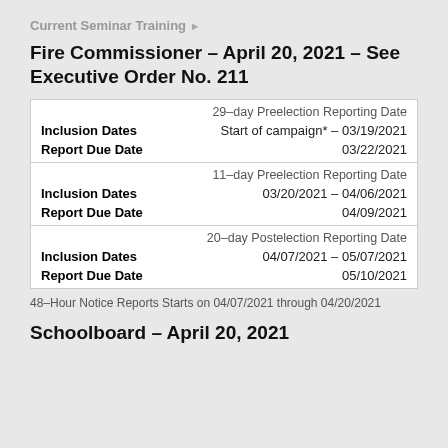Current Seminar Training ▶
Fire Commissioner – April 20, 2021 – See Executive Order No. 211
| 29–day Preelection Reporting Date |
| Inclusion Dates | Start of campaign* – 03/19/2021 |
| Report Due Date | 03/22/2021 |
| 11–day Preelection Reporting Date |
| Inclusion Dates | 03/20/2021 – 04/06/2021 |
| Report Due Date | 04/09/2021 |
| 20–day Postelection Reporting Date |
| Inclusion Dates | 04/07/2021 – 05/07/2021 |
| Report Due Date | 05/10/2021 |
48–Hour Notice Reports Starts on 04/07/2021 through 04/20/2021
Schoolboard – April 20, 2021